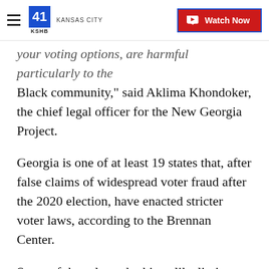KSHB 41 Kansas City | Watch Now
your voting options, are harmful particularly to the Black community," said Aklima Khondoker, the chief legal officer for the New Georgia Project.
Georgia is one of at least 19 states that, after false claims of widespread voter fraud after the 2020 election, have enacted stricter voter laws, according to the Brennan Center.
Some of these laws do things like limit early voting sites, decrease the number of drop boxes, require identification on mail-in ballots and give states more control over county elections.